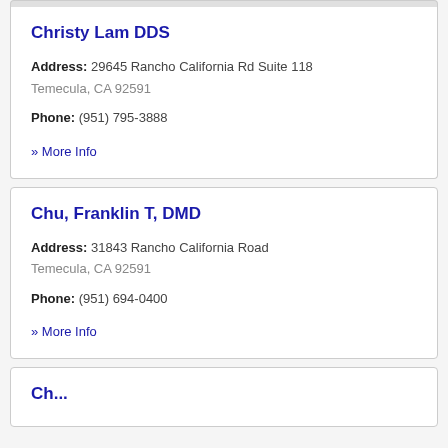Christy Lam DDS
Address: 29645 Rancho California Rd Suite 118 Temecula, CA 92591
Phone: (951) 795-3888
» More Info
Chu, Franklin T, DMD
Address: 31843 Rancho California Road Temecula, CA 92591
Phone: (951) 694-0400
» More Info